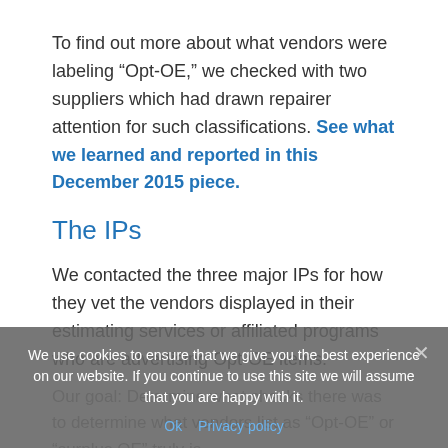To find out more about what vendors were labeling “Opt-OE,” we checked with two suppliers which had drawn repairer attention for such classifications. See what we learned and reported in this December 2015 piece.
The IPs
We contacted the three major IPs for how they vet the vendors displayed in their estimating services or affiliated programs who are advertising Opt-OE items.
Our goal: Determine what checks there was to determine what vendors list as “Opt-OE” or “surplus OE” truly is
We use cookies to ensure that we give you the best experience on our website. If you continue to use this site we will assume that you are happy with it.
Ok   Privacy policy